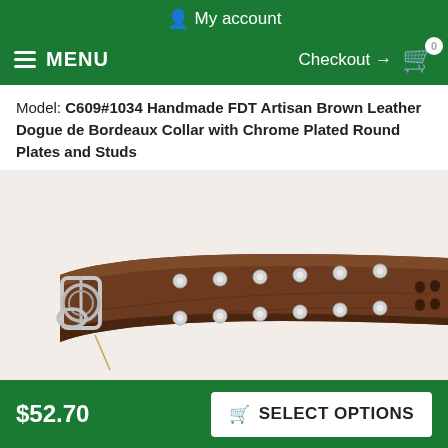My account
MENU  Checkout → 0
Model: C609#1034 Handmade FDT Artisan Brown Leather Dogue de Bordeaux Collar with Chrome Plated Round Plates and Studs
[Figure (photo): Close-up photo of a brown leather dog collar with chrome/silver studs and round plates, and a metal buckle on the left side. The collar is wide and sturdy.]
$52.70
SELECT OPTIONS